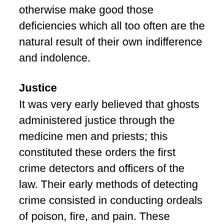otherwise make good those deficiencies which all too often are the natural result of their own indifference and indolence.
Justice
It was very early believed that ghosts administered justice through the medicine men and priests; this constituted these orders the first crime detectors and officers of the law. Their early methods of detecting crime consisted in conducting ordeals of poison, fire, and pain. These savage ordeals were nothing more than crude techniques of arbitration; they did not necessarily settle a dispute justly. For example: When poison was administered, if the accused vomited, he was innocent. The Old Testament records one of these ordeals, a marital guilt test: If a man suspected his wife of being untrue to him, he took her to the priest and stated his suspicions, after which the priest